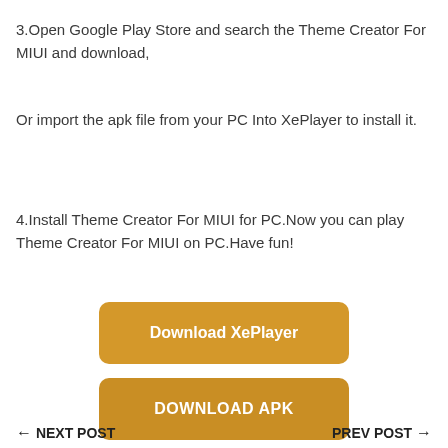3.Open Google Play Store and search the Theme Creator For MIUI and download,
Or import the apk file from your PC Into XePlayer to install it.
4.Install Theme Creator For MIUI for PC.Now you can play Theme Creator For MIUI on PC.Have fun!
[Figure (other): Download XePlayer button - golden/amber colored rounded rectangle button]
[Figure (other): DOWNLOAD APK button - golden/amber colored rounded rectangle button]
← NEXT POST    PREV POST →